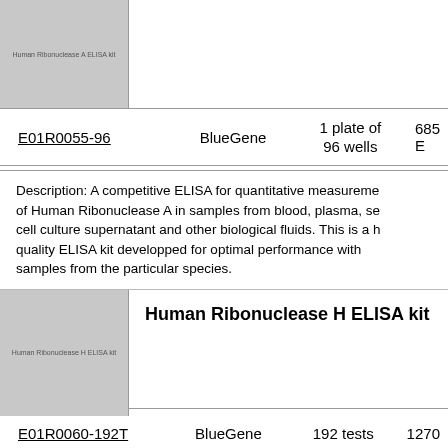[Figure (photo): Product image placeholder for Human Ribonuclease A ELISA kit, gray box with small text 'Human Ribonuclease A ELISA kit']
| Catalog # | Brand | Size | Price |
| --- | --- | --- | --- |
| E01R0055-96 | BlueGene | 1 plate of 96 wells | 685 E |
Description: A competitive ELISA for quantitative measurement of Human Ribonuclease A in samples from blood, plasma, serum, cell culture supernatant and other biological fluids. This is a high quality ELISA kit developped for optimal performance with samples from the particular species.
[Figure (photo): Product image placeholder for Human Ribonuclease H ELISA kit, gray box with small text 'Human Ribonuclease H ELISA kit']
Human Ribonuclease H ELISA kit
| Catalog # | Brand | Size | Price |
| --- | --- | --- | --- |
| E01R0060-192T | BlueGene | 192 tests | 1270 |